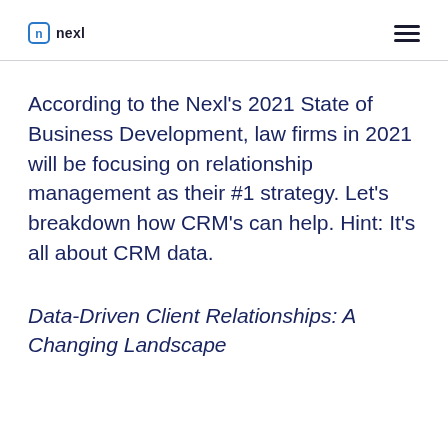nexl
According to the Nexl's 2021 State of Business Development, law firms in 2021 will be focusing on relationship management as their #1 strategy. Let's breakdown how CRM's can help. Hint: It's all about CRM data.
Data-Driven Client Relationships: A Changing Landscape